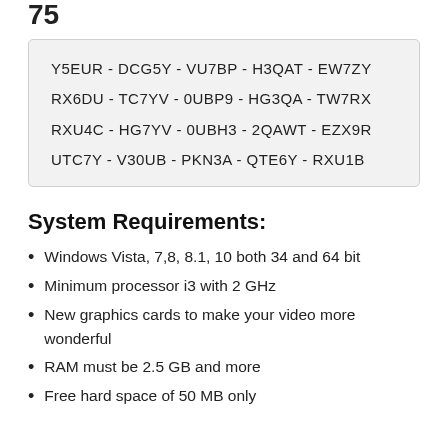Y5EUR-DCG5Y-VU7BP-H3QAT-EW7ZY
RX6DU-TC7YV-0UBP9-HG3QA-TW7RX
RXU4C-HG7YV-0UBH3-2QAWT-EZX9R
UTC7Y-V30UB-PKN3A-QTE6Y-RXU1B
System Requirements:
Windows Vista, 7,8, 8.1, 10 both 34 and 64 bit
Minimum processor i3 with 2 GHz
New graphics cards to make your video more wonderful
RAM must be 2.5 GB and more
Free hard space of 50 MB only